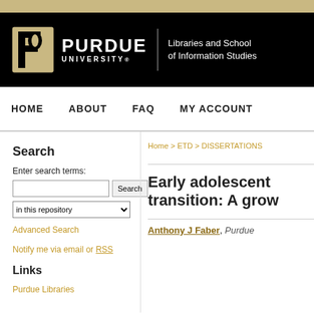[Figure (logo): Purdue University Libraries and School of Information Studies logo on black background]
HOME   ABOUT   FAQ   MY ACCOUNT
Search
Enter search terms:
Advanced Search
Notify me via email or RSS
Links
Purdue Libraries
Home > ETD > DISSERTATIONS
Early adolescent transition: A grow
Anthony J Faber, Purdue